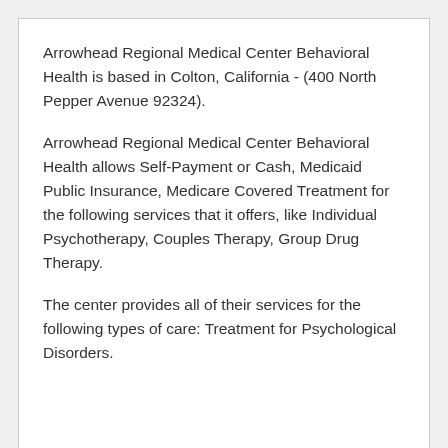Arrowhead Regional Medical Center Behavioral Health is based in Colton, California - (400 North Pepper Avenue 92324).
Arrowhead Regional Medical Center Behavioral Health allows Self-Payment or Cash, Medicaid Public Insurance, Medicare Covered Treatment for the following services that it offers, like Individual Psychotherapy, Couples Therapy, Group Drug Therapy.
The center provides all of their services for the following types of care: Treatment for Psychological Disorders.